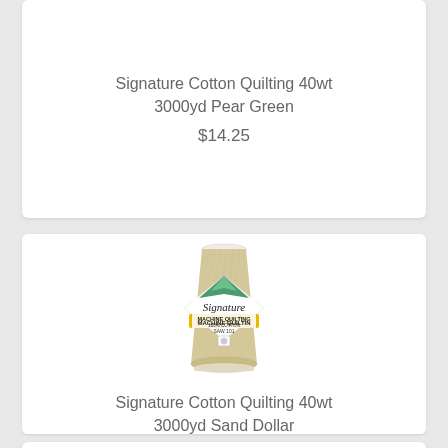Signature Cotton Quilting 40wt 3000yd Pear Green
$14.25
[Figure (photo): Cone of Signature cotton quilting thread in sand/beige color with diamond-shaped label reading Signature Machine Quilting 100% Cotton]
Signature Cotton Quilting 40wt 3000yd Sand Dollar
$14.25